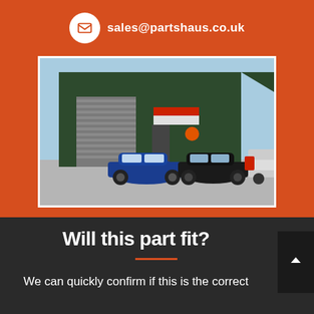sales@partshaus.co.uk
[Figure (photo): Exterior of a dark green industrial/warehouse building with a blue VW Golf R and a black VW Golf parked in front, a white van on the right side, and a blue sky in the background]
Will this part fit?
We can quickly confirm if this is the correct